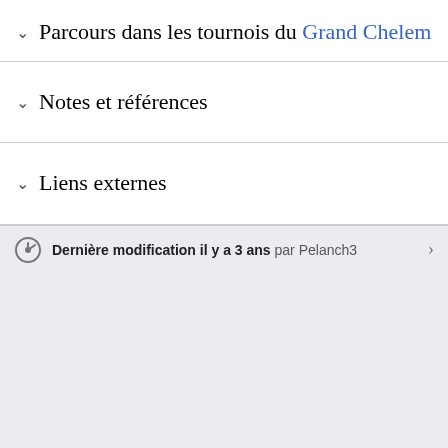Parcours dans les tournois du Grand Chelem
Notes et références
Liens externes
Dernière modification il y a 3 ans par Pelanch3